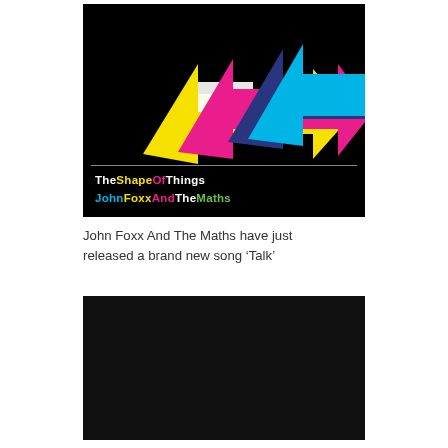[Figure (illustration): Album cover for 'The Shape Of Things' by John Foxx And The Maths. Black background with four overlapping upward-pointing arrows in yellow, magenta, dark blue/navy, and cyan, arranged diagonally. Below a thin horizontal line, text reads 'TheShapeOfThings' and 'JohnFoxxAndTheMaths' with each word in different colors (white, yellow, magenta, cyan, green).]
John Foxx And The Maths have just released a brand new song ‘Talk’
[Figure (photo): Dark/black rectangle, appears to be a video or image embed placeholder.]